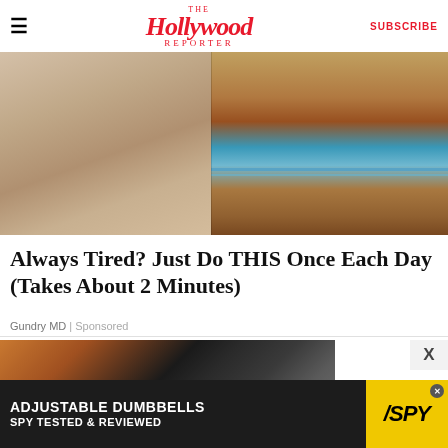The Hollywood Reporter | SUBSCRIBE
[Figure (photo): Advertisement photo showing a man in a suit on the left pointing at something, and a geological cross-section diagram on the right showing layered soil/terrain]
Always Tired? Just Do THIS Once Each Day (Takes About 2 Minutes)
Gundry MD | Sponsored
[Figure (photo): Close-up photo of a black Labrador dog lying on a wooden floor]
[Figure (screenshot): Advertisement banner: ADJUSTABLE DUMBBELLS SPY TESTED & REVIEWED with SPY logo in yellow]